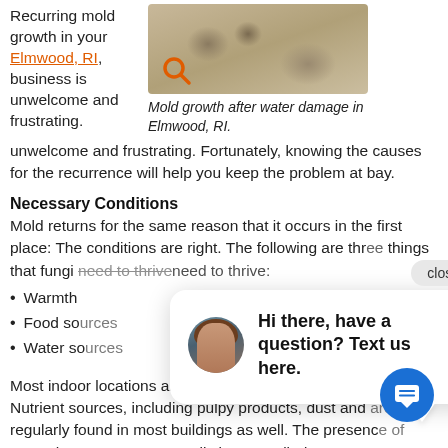Recurring mold growth in your Elmwood, RI, business is unwelcome and frustrating. Fortunately, knowing the causes for the recurrence will help you keep the problem at bay.
[Figure (photo): Close-up photo of mold growth on carpet/fabric after water damage]
Mold growth after water damage in Elmwood, RI.
Necessary Conditions
Mold returns for the same reason that it occurs in the first place: The conditions are right. The following are three things that fungi need to thrive:
Warmth
Food sources
Water sources
Most indoor locations are warm enough to support mold. Nutrient sources, including pulpy products, dust and are regularly found in most buildings as well. The presence of water, however, can generally be controlled.